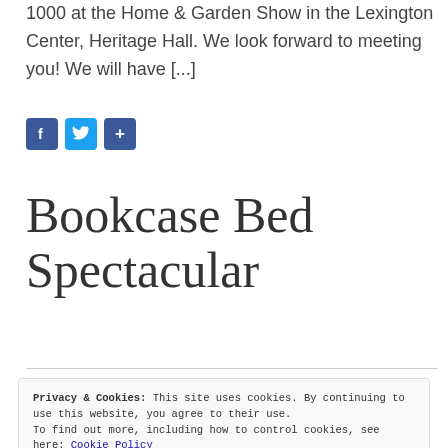1000 at the Home & Garden Show in the Lexington Center, Heritage Hall. We look forward to meeting you! We will have [...]
[Figure (other): Social sharing icons: Facebook (blue), Twitter (blue bird), and Share (blue plus) buttons]
Bookcase Bed Spectacular
Privacy & Cookies: This site uses cookies. By continuing to use this website, you agree to their use. To find out more, including how to control cookies, see here: Cookie Policy
Close and accept